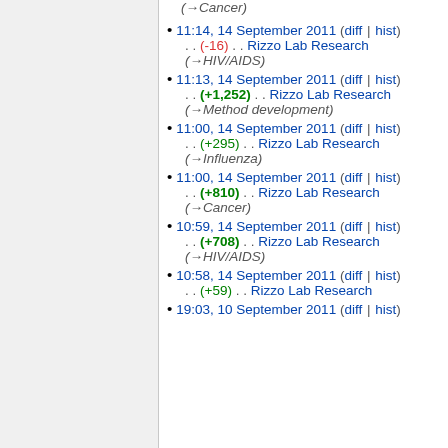(→Cancer)
11:14, 14 September 2011 (diff | hist) . . (-16) . . Rizzo Lab Research (→HIV/AIDS)
11:13, 14 September 2011 (diff | hist) . . (+1,252) . . Rizzo Lab Research (→Method development)
11:00, 14 September 2011 (diff | hist) . . (+295) . . Rizzo Lab Research (→Influenza)
11:00, 14 September 2011 (diff | hist) . . (+810) . . Rizzo Lab Research (→Cancer)
10:59, 14 September 2011 (diff | hist) . . (+708) . . Rizzo Lab Research (→HIV/AIDS)
10:58, 14 September 2011 (diff | hist) . . (+59) . . Rizzo Lab Research
19:03, 10 September 2011 (diff | hist)